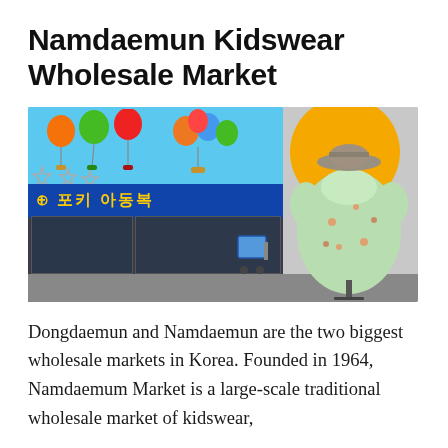Namdaemun Kidswear Wholesale Market
[Figure (photo): Street-level photo of a Korean kidswear wholesale shop with colorful balloon decorations and Korean signage on a bright blue facade. A mannequin wearing a green floral dress with a hat stands to the right against a yellow circle and grey background. A blue hand cart is visible in front of the store entrance.]
Dongdaemun and Namdaemun are the two biggest wholesale markets in Korea. Founded in 1964, Namdaemum Market is a large-scale traditional wholesale market of kidswear,